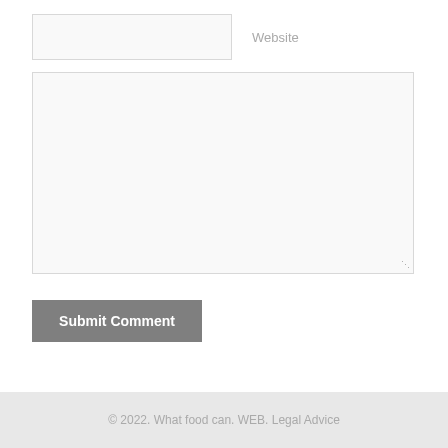[Figure (screenshot): A web form input box (text field) for entering a website URL, shown as an empty light gray rectangle with a border]
Website
[Figure (screenshot): A large textarea input box for entering a comment, shown as a light gray rectangle with a border and resize handle in the bottom-right corner]
[Figure (screenshot): A gray Submit Comment button with bold white text]
© 2022. What food can. WEB. Legal Advice